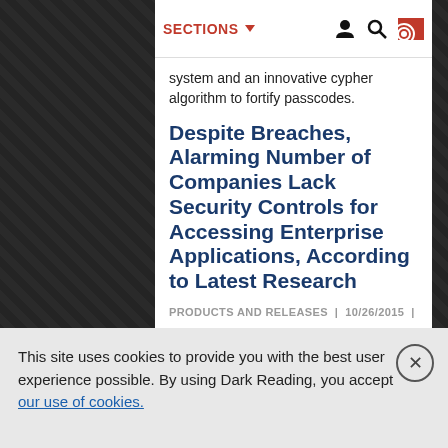SECTIONS
system and an innovative cypher algorithm to fortify passcodes.
Despite Breaches, Alarming Number of Companies Lack Security Controls for Accessing Enterprise Applications, According to Latest Research
PRODUCTS AND RELEASES | 10/26/2015 |
Post a comment
Independent Study Respondents Recognize Need for More Stringent Access Controls, Yet 60 Percent of
This site uses cookies to provide you with the best user experience possible. By using Dark Reading, you accept our use of cookies.